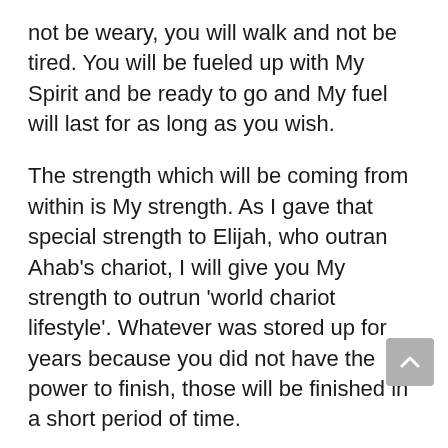not be weary, you will walk and not be tired. You will be fueled up with My Spirit and be ready to go and My fuel will last for as long as you wish.
The strength which will be coming from within is My strength. As I gave that special strength to Elijah, who outran Ahab's chariot, I will give you My strength to outrun 'world chariot lifestyle'. Whatever was stored up for years because you did not have the power to finish, those will be finished in a short period of time.
You will outrun everyone around you all the way to the entrance. There will be an entrance to a new. You will finish with the old, you will finish with the now, and I will